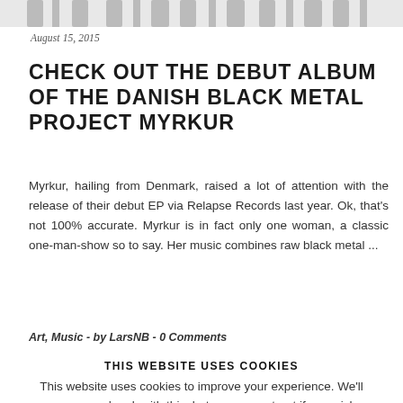[Figure (photo): Partial top of a stylized typography or logo image, partially cropped at the top of the page]
August 15, 2015
CHECK OUT THE DEBUT ALBUM OF THE DANISH BLACK METAL PROJECT MYRKUR
Myrkur, hailing from Denmark, raised a lot of attention with the release of their debut EP via Relapse Records last year. Ok, that's not 100% accurate. Myrkur is in fact only one woman, a classic one-man-show so to say. Her music combines raw black metal ...
Art, Music  -  by LarsNB  -  0 Comments
THIS WEBSITE USES COOKIES
This website uses cookies to improve your experience. We'll assume you're ok with this, but you can opt-out if you wish.